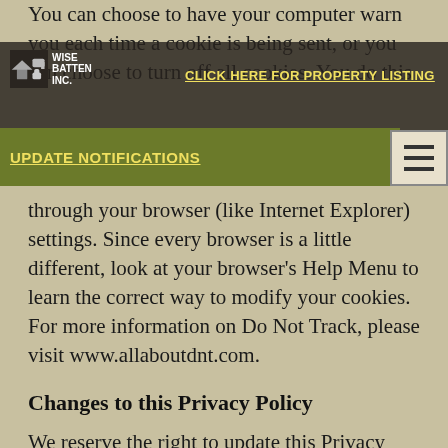You can choose to have your computer warn you each time a cookie is being sent, or you can choose to turn off all cookies. You do this through your browser (like Internet Explorer) settings. Since every browser is a little different, look at your browser's Help Menu to learn the correct way to modify your cookies. For more information on Do Not Track, please visit www.allaboutdnt.com.
Changes to this Privacy Policy
We reserve the right to update this Privacy Policy from time to time by posting a new Privacy Policy on this page. You are advised to consult this Privacy Policy regularly for any changes, and your continued use of the Site